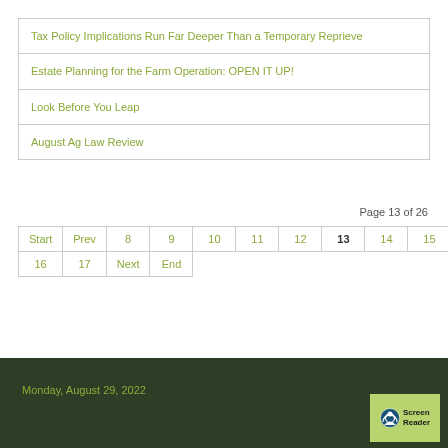Tax Policy Implications Run Far Deeper Than a Temporary Reprieve
Estate Planning for the Farm Operation: OPEN IT UP!
Look Before You Leap
August Ag Law Review
Page 13 of 26
| Start | Prev | 8 | 9 | 10 | 11 | 12 | 13 | 14 | 15 |
| --- | --- | --- | --- | --- | --- | --- | --- | --- | --- |
| 16 | 17 | Next | End |  |  |  |  |  |  |
Monday, August 29, 2022